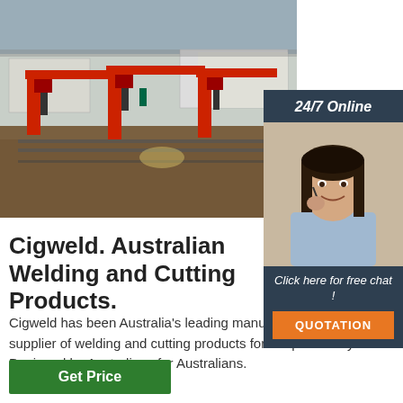[Figure (photo): Industrial welding/cutting machinery with red gantry machines on a factory floor, shipping containers in background]
[Figure (photo): 24/7 Online support widget with woman wearing headset smiling, button 'Click here for free chat!' and orange QUOTATION button]
Cigweld. Australian Welding and Cutting Products.
Cigweld has been Australia's leading manufacturer and supplier of welding and cutting products for the past 100 years. Designed by Australians for Australians.
Get Price